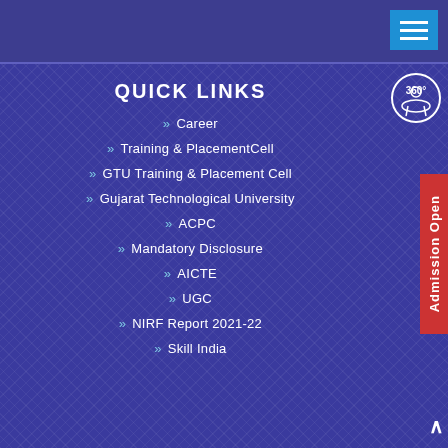QUICK LINKS
» Career
» Training & PlacementCell
» GTU Training & Placement Cell
» Gujarat Technological University
» ACPC
» Mandatory Disclosure
» AICTE
» UGC
» NIRF Report 2021-22
» Skill India